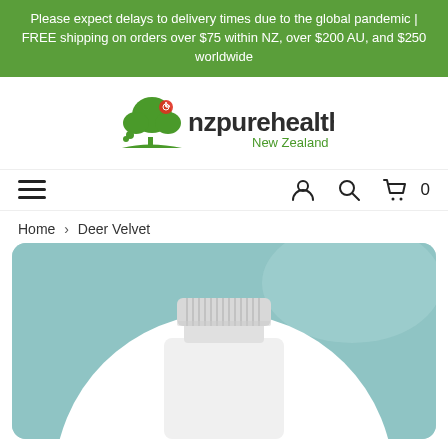Please expect delays to delivery times due to the global pandemic | FREE shipping on orders over $75 within NZ, over $200 AU, and $250 worldwide
[Figure (logo): NZ Pure Health New Zealand logo with green tree and sun icon]
[Figure (screenshot): Navigation bar with hamburger menu on left, and user account, search, and cart icons on right showing 0 items]
Home > Deer Velvet
[Figure (photo): Product supplement bottle with white cap on teal/mint background with white circular backdrop, partially cropped]